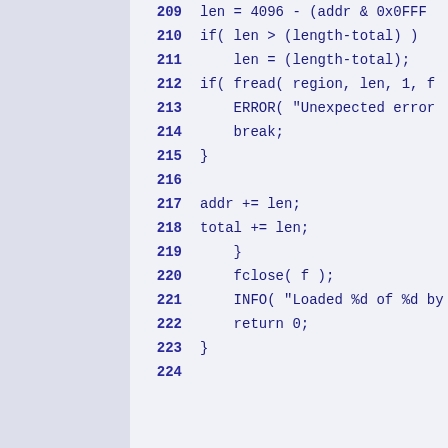209  len = 4096 - (addr & 0x0FFF);
210  if( len > (length-total) )
211      len = (length-total);
212  if( fread( region, len, 1, f
213      ERROR( "Unexpected error
214      break;
215  }
216
217  addr += len;
218  total += len;
219      }
220      fclose( f );
221      INFO( "Loaded %d of %d by
222      return 0;
223  }
224